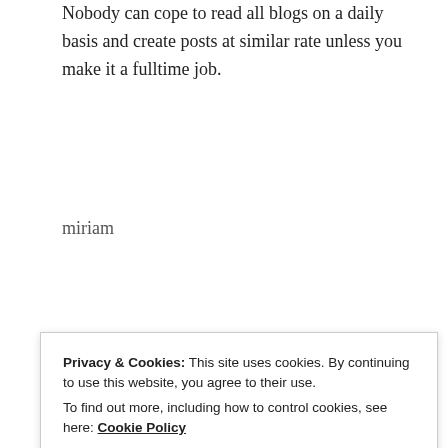Nobody can cope to read all blogs on a daily basis and create posts at similar rate unless you make it a fulltime job.
miriam
★ Liked by 2 people
REPLY
[Figure (photo): Circular avatar photo of a person with dark reddish-brown tones]
ZEALOUS HOMO SAPIENS
perfect for such purposes. Thank you for your
Privacy & Cookies: This site uses cookies. By continuing to use this website, you agree to their use. To find out more, including how to control cookies, see here: Cookie Policy
Close and accept